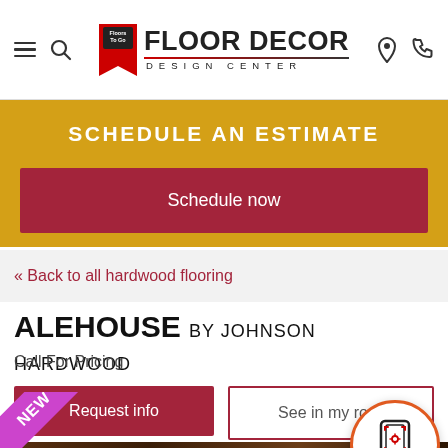Floor Decor Design Center
SCHEDULE AN ESTIMATE
Schedule now
« Back to all hardwood flooring
ALEHOUSE BY JOHNSON HARDWOOD
Call For Pricing
Request info
See in my ro...
[Figure (photo): Hardwood flooring product photo with purple NEW ribbon badge in corner]